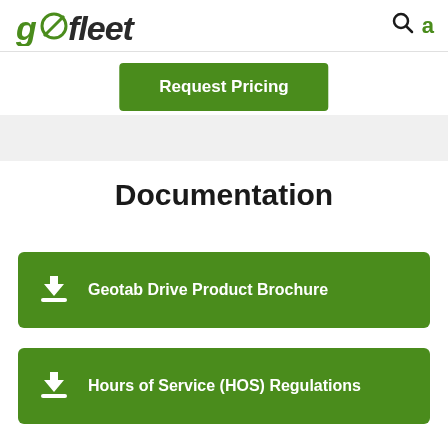gofleet
Request Pricing
Documentation
Geotab Drive Product Brochure
Hours of Service (HOS) Regulations